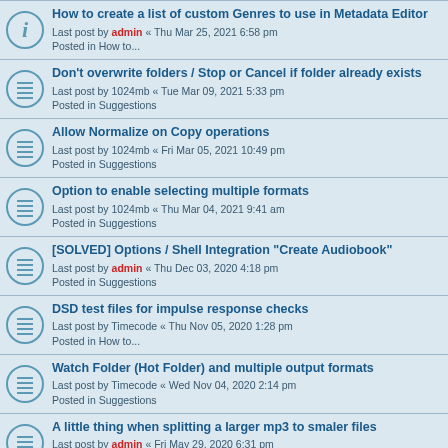How to create a list of custom Genres to use in Metadata Editor
Last post by admin « Thu Mar 25, 2021 6:58 pm
Posted in How to...
Don't overwrite folders / Stop or Cancel if folder already exists
Last post by 1024mb « Tue Mar 09, 2021 5:33 pm
Posted in Suggestions
Allow Normalize on Copy operations
Last post by 1024mb « Fri Mar 05, 2021 10:49 pm
Posted in Suggestions
Option to enable selecting multiple formats
Last post by 1024mb « Thu Mar 04, 2021 9:41 am
Posted in Suggestions
[SOLVED] Options / Shell Integration "Create Audiobook"
Last post by admin « Thu Dec 03, 2020 4:18 pm
Posted in Suggestions
DSD test files for impulse response checks
Last post by Timecode « Thu Nov 05, 2020 1:28 pm
Posted in How to...
Watch Folder (Hot Folder) and multiple output formats
Last post by Timecode « Wed Nov 04, 2020 2:14 pm
Posted in Suggestions
A little thing when splitting a larger mp3 to smaler files
Last post by admin « Fri May 29, 2020 6:31 pm
Posted in Bug reports